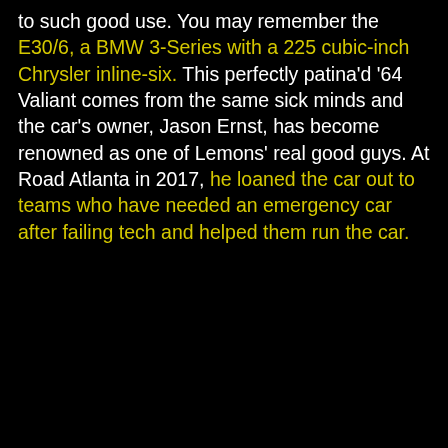to such good use. You may remember the E30/6, a BMW 3-Series with a 225 cubic-inch Chrysler inline-six. This perfectly patina'd '64 Valiant comes from the same sick minds and the car's owner, Jason Ernst, has become renowned as one of Lemons' real good guys. At Road Atlanta in 2017, he loaned the car out to teams who have needed an emergency car after failing tech and helped them run the car.